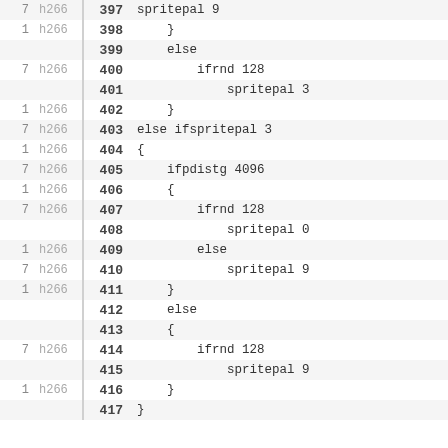|  |  | line | code |
| --- | --- | --- | --- |
| 7 | h266 | 397 | spritepal 9 |
| 1 | h266 | 398 |     } |
|  |  | 399 |     else |
| 7 | h266 | 400 |         ifrnd 128 |
|  |  | 401 |             spritepal 3 |
| 1 | h266 | 402 |     } |
| 7 | h266 | 403 | else ifspritepal 3 |
| 1 | h266 | 404 | { |
| 7 | h266 | 405 |     ifpdistg 4096 |
| 1 | h266 | 406 |     { |
| 7 | h266 | 407 |         ifrnd 128 |
|  |  | 408 |             spritepal 0 |
| 1 | h266 | 409 |         else |
| 7 | h266 | 410 |             spritepal 9 |
| 1 | h266 | 411 |     } |
|  |  | 412 |     else |
|  |  | 413 |     { |
| 7 | h266 | 414 |         ifrnd 128 |
|  |  | 415 |             spritepal 9 |
| 1 | h266 | 416 |     } |
|  |  | 417 | } |